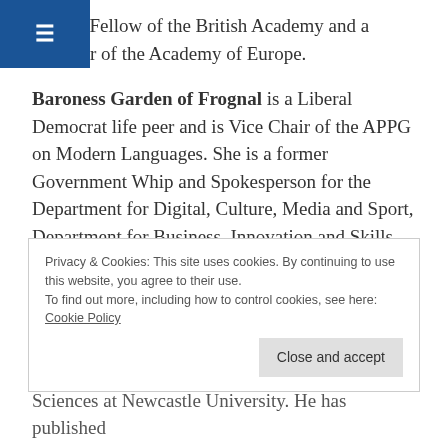He is a Fellow of the British Academy and a Member of the Academy of Europe.
Baroness Garden of Frognal is a Liberal Democrat life peer and is Vice Chair of the APPG on Modern Languages. She is a former Government Whip and Spokesperson for the Department for Digital, Culture, Media and Sport, Department for Business, Innovation and Skills (Higher Education) and the Department for Education. She is an MFL
Privacy & Cookies: This site uses cookies. By continuing to use this website, you agree to their use.
To find out more, including how to control cookies, see here: Cookie Policy
Sciences at Newcastle University. He has published